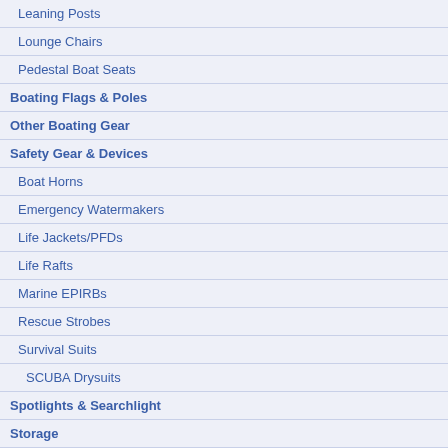Leaning Posts
Lounge Chairs
Pedestal Boat Seats
Boating Flags & Poles
Other Boating Gear
Safety Gear & Devices
Boat Horns
Emergency Watermakers
Life Jackets/PFDs
Life Rafts
Marine EPIRBs
Rescue Strobes
Survival Suits
SCUBA Drysuits
Spotlights & Searchlight
Storage
Boat Shrink Wrap
Outboard Stands & Carts
Anchoring & Docking
Power-Pole Anchors
[Figure (photo): Product photo partially visible at top right]
Bid Now »
Buy Now »
[Figure (photo): Marine electronics kit with cables and components spread out]
Buy Now »
[Figure (infographic): FREE shipping orange circle badge]
[Figure (photo): Product photo partially visible at bottom right]